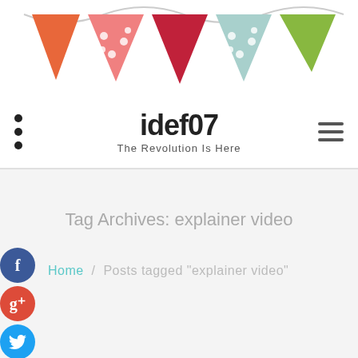[Figure (illustration): Decorative banner/bunting with colorful triangular flag pennants in orange, pink polka-dot, dark red, light teal polka-dot, and green colors strung across the top of the page]
idef07
The Revolution Is Here
Tag Archives: explainer video
Home / Posts tagged "explainer video"